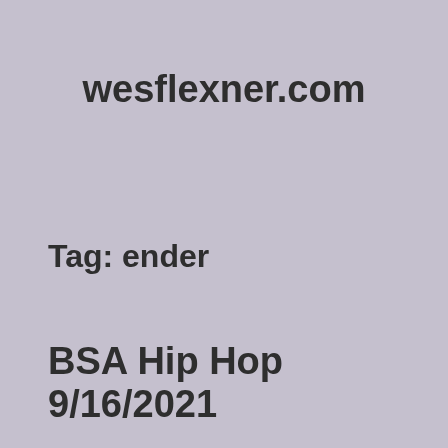wesflexner.com
Tag: ender
BSA Hip Hop 9/16/2021